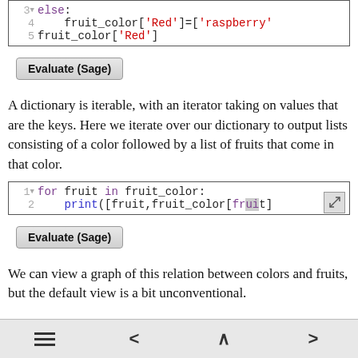[Figure (screenshot): Code block showing Python: line 3 'else:', line 4 'fruit_color["Red"]=["raspberry"', line 5 'fruit_color["Red"]']
[Figure (screenshot): Evaluate (Sage) button]
A dictionary is iterable, with an iterator taking on values that are the keys. Here we iterate over our dictionary to output lists consisting of a color followed by a list of fruits that come in that color.
[Figure (screenshot): Code block showing Python: line 1 'for fruit in fruit_color:', line 2 'print([fruit,fruit_color[fruit]']
[Figure (screenshot): Evaluate (Sage) button]
We can view a graph of this relation between colors and fruits, but the default view is a bit unconventional.
≡  <  ∧  >